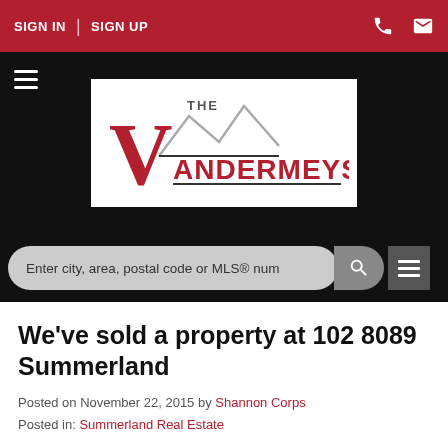SIGN IN | SIGN UP
[Figure (logo): The Vandermeys real estate logo — large red V with mountain silhouette outlines and text VANDERMEYS]
Enter city, area, postal code or MLS® num
We've sold a property at 102 8089 Summerland
Posted on November 22, 2015 by Shannon Corps
Posted in: Summerland Real Estate